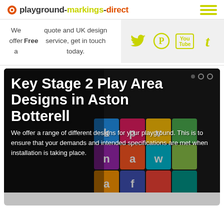playground-markings-direct
We offer a Free quote and UK design service, get in touch today.
[Figure (screenshot): Social media icons: Twitter, Pinterest, YouTube, Tumblr on light grey background]
[Figure (photo): Hero banner with dark background showing colorful alphabet playground markings, white bold text overlaid reading 'Key Stage 2 Play Area Designs in Aston Botterell' with subtext 'We offer a range of different designs for your playground. This is to ensure that your demands and intended specifications are met when installation is taking place.']